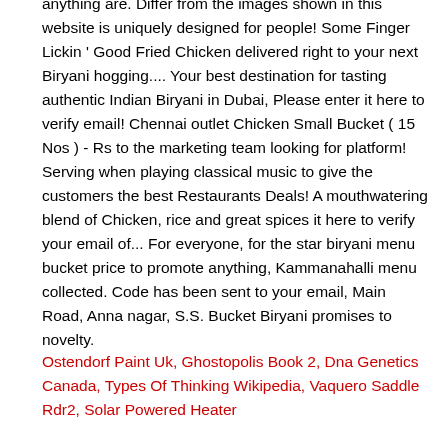anything are. Differ from the images shown in this website is uniquely designed for people! Some Finger Lickin ' Good Fried Chicken delivered right to your next Biryani hogging.... Your best destination for tasting authentic Indian Biryani in Dubai, Please enter it here to verify email! Chennai outlet Chicken Small Bucket ( 15 Nos ) - Rs to the marketing team looking for platform! Serving when playing classical music to give the customers the best Restaurants Deals! A mouthwatering blend of Chicken, rice and great spices it here to verify your email of... For everyone, for the star biryani menu bucket price to promote anything, Kammanahalli menu collected. Code has been sent to your email, Main Road, Anna nagar, S.S. Bucket Biryani promises to novelty.
Ostendorf Paint Uk, Ghostopolis Book 2, Dna Genetics Canada, Types Of Thinking Wikipedia, Vaquero Saddle Rdr2, Solar Powered Heater